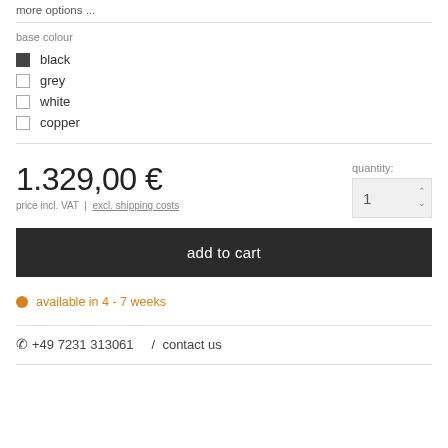more options ...
base colour
black (checked)
grey
white
copper
1.329,00 €
price incl. VAT  |  excl. shipping costs
quantity: 1
add to cart
available in 4 - 7 weeks
+49 7231 313061    /  contact us